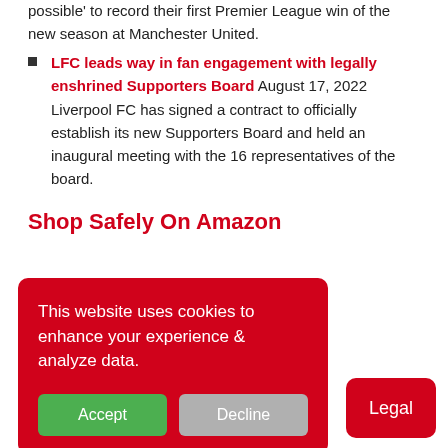possible' to record their first Premier League win of the new season at Manchester United.
LFC leads way in fan engagement with legally enshrined Supporters Board August 17, 2022 Liverpool FC has signed a contract to officially establish its new Supporters Board and held an inaugural meeting with the 16 representatives of the board.
Shop Safely On Amazon
This website uses cookies to enhance your experience & analyze data.
Accept
Decline
Legal